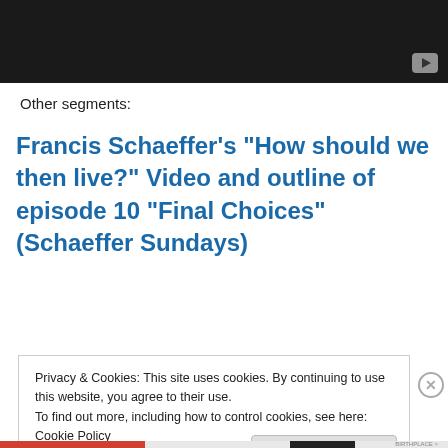[Figure (screenshot): Dark video player area with YouTube-style play button in bottom-right corner]
Other segments:
Francis Schaeffer's “How should we then live?” Video and outline of episode 10 “Final Choices” (Schaeffer Sundays)
Privacy & Cookies: This site uses cookies. By continuing to use this website, you agree to their use.
To find out more, including how to control cookies, see here: Cookie Policy